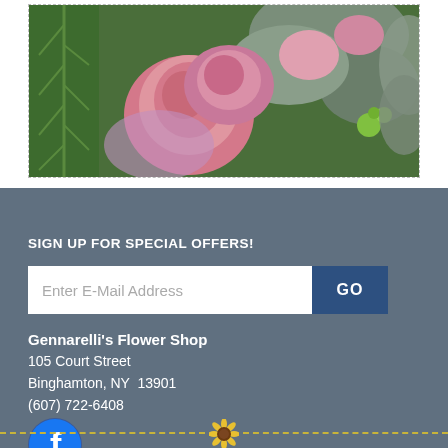[Figure (photo): Close-up photo of pink roses and green foliage flower arrangement]
SIGN UP FOR SPECIAL OFFERS!
Enter E-Mail Address [input field] GO [button]
Gennarelli's Flower Shop
105 Court Street
Binghamton, NY  13901
(607) 722-6408
[Figure (logo): Facebook icon - blue circle with white 'f' logo]
[Figure (illustration): Decorative dashed divider line with sunflower icon in center]